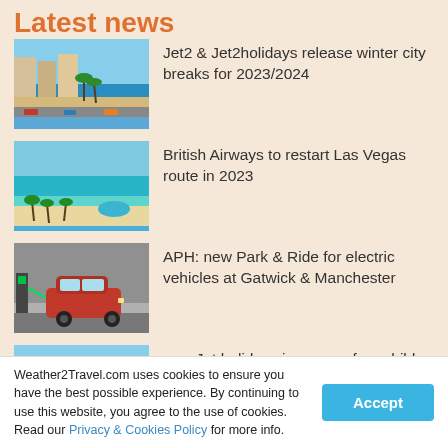Latest news
Jet2 & Jet2holidays release winter city breaks for 2023/2024
British Airways to restart Las Vegas route in 2023
APH: new Park & Ride for electric vehicles at Gatwick & Manchester
easyJet holidays increases free child places for summer 2023
Weather2Travel.com uses cookies to ensure you have the best possible experience. By continuing to use this website, you agree to the use of cookies. Read our Privacy & Cookies Policy for more info.